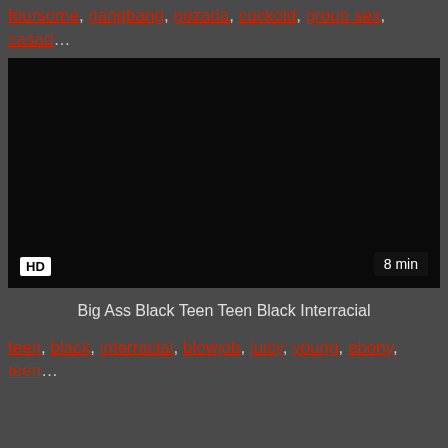foursome, gangbang, gozada, cuckold, group sex, casad…
[Figure (screenshot): Black video player thumbnail with HD badge bottom-left and 8 min duration badge bottom-right]
Big Ass Black Teen Teen Black Interracial
teen, black, interracial, blowjob, juicy, young, ebony, teen…